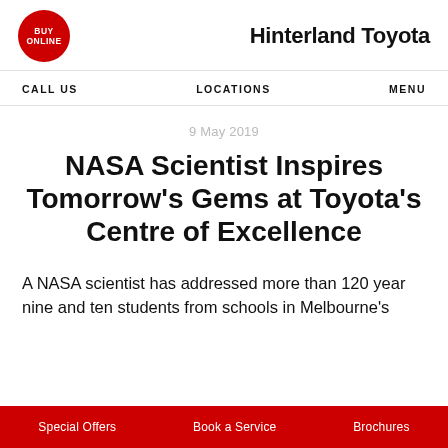BUY ONLINE | Hinterland Toyota
CALL US   LOCATIONS   MENU
9 May 2019
NASA Scientist Inspires Tomorrow's Gems at Toyota's Centre of Excellence
A NASA scientist has addressed more than 120 year nine and ten students from schools in Melbourne's
Special Offers   Book a Service   Brochures